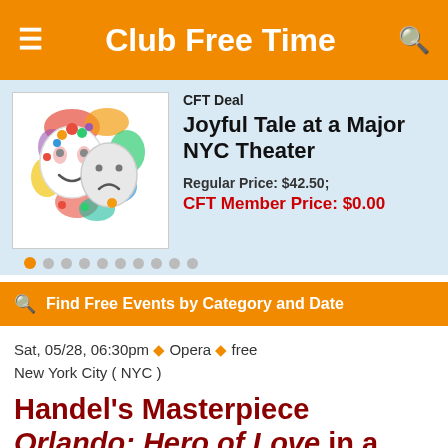Club Free Time
[Figure (screenshot): CFT Deal card with theater masks image. CFT Deal label, title 'Joyful Tale at a Major NYC Theater', Regular Price: $42.50; CFT Member Price: $0.00]
Find Free Events by Category and Date
Sat, 05/28, 06:30pm ◆ Opera ◆ free
New York City ( NYC )
Handel's Masterpiece Orlando: Hero of Love in a Garden
[Figure (photo): Partial photo of a performer, cropped at bottom of page]